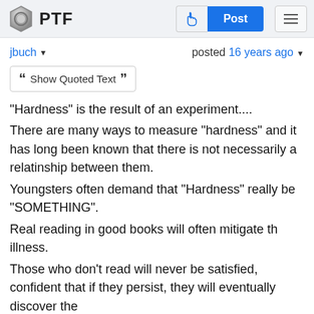PTF
jbuch ▾   posted 16 years ago ▾
❝ Show Quoted Text ❞
"Hardness" is the result of an experiment....
There are many ways to measure "hardness" and it has long been known that there is not necessarily a relatinship between them.
Youngsters often demand that "Hardness" really be "SOMETHING".
Real reading in good books will often mitigate the illness.
Those who don't read will never be satisfied, confident that if they persist, they will eventually discover the 'Truth'